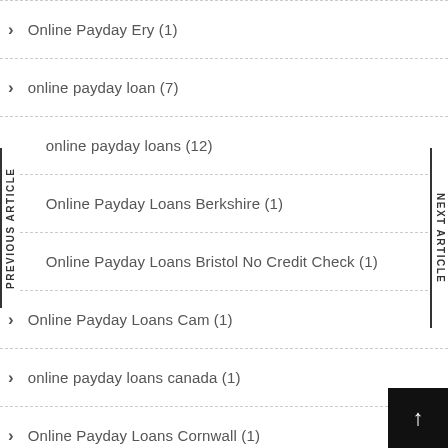Online Payday Ery (1)
online payday loan (7)
online payday loans (12)
Online Payday Loans Berkshire (1)
Online Payday Loans Bristol No Credit Check (1)
Online Payday Loans Cam (1)
online payday loans canada (1)
Online Payday Loans Cornwall (1)